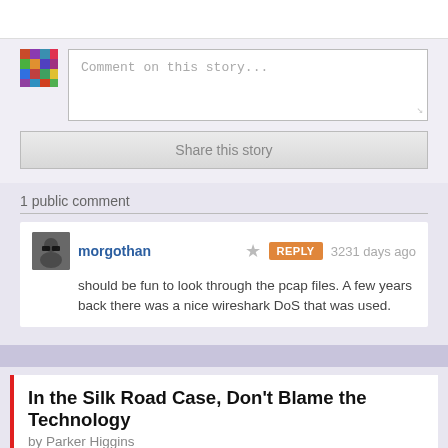Comment on this story...
Share this story
1 public comment
morgothan   ★   REPLY   3231 days ago
should be fun to look through the pcap files. A few years back there was a nice wireshark DoS that was used.
In the Silk Road Case, Don't Blame the Technology
by Parker Higgins
Thursday October 3rd, 2013 at 11:14 AM
Deeplinks   2 Shares
The man alleged to be "Dread Pirate Roberts," the founder and operator of the Silk Road—an online marketplace where bitcoins were traded for a range of goods and services including drugs—was arrested by the FBI in